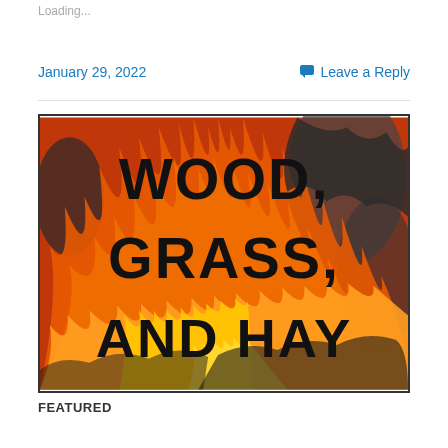Loading...
January 29, 2022
Leave a Reply
[Figure (illustration): A stylized fire/flame background image with bold black text reading 'WOOD, GRASS, AND HAY' on top of orange, red, and yellow flames with dark textured elements.]
FEATURED